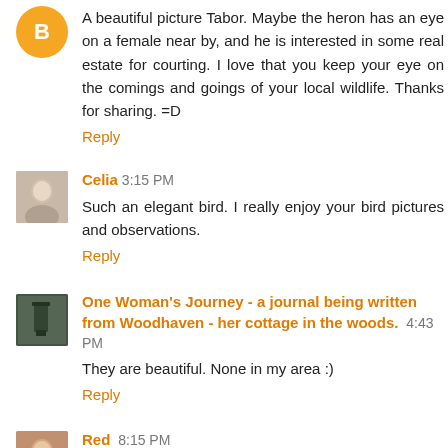[Figure (illustration): Orange circular avatar icon (Google/Blogger default user icon)]
A beautiful picture Tabor. Maybe the heron has an eye on a female near by, and he is interested in some real estate for courting. I love that you keep your eye on the comings and goings of your local wildlife. Thanks for sharing. =D
Reply
[Figure (photo): Small square avatar photo of Celia, a woman with light hair]
Celia 3:15 PM
Such an elegant bird. I really enjoy your bird pictures and observations.
Reply
[Figure (photo): Small square avatar photo for One Woman's Journey blog]
One Woman's Journey - a journal being written from Woodhaven - her cottage in the woods. 4:43 PM
They are beautiful. None in my area :)
Reply
[Figure (photo): Small square avatar photo of Red]
Red 8:15 PM